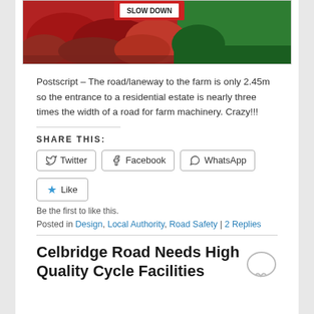[Figure (photo): Partial photo of red-leaved plants/shrubs with green grass in the background, bottom portion visible]
Postscript – The road/laneway to the farm is only 2.45m so the entrance to a residential estate is nearly three times the width of a road for farm machinery. Crazy!!!
SHARE THIS:
Twitter | Facebook | WhatsApp (share buttons)
Like
Be the first to like this.
Posted in Design, Local Authority, Road Safety | 2 Replies
Celbridge Road Needs High Quality Cycle Facilities